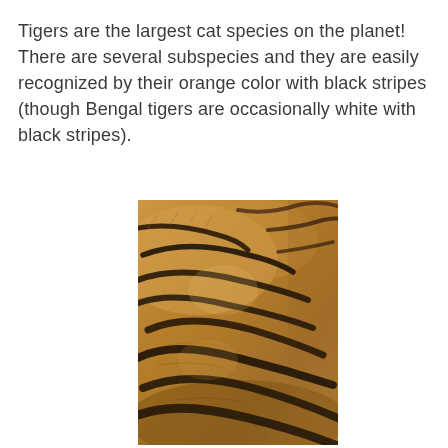Tigers are the largest cat species on the planet! There are several subspecies and they are easily recognized by their orange color with black stripes (though Bengal tigers are occasionally white with black stripes).
[Figure (photo): Close-up photograph of tiger fur showing orange and brown coloration with distinctive dark black stripes running diagonally across the coat.]